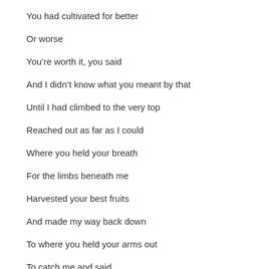You had cultivated for better
Or worse
You're worth it, you said
And I didn't know what you meant by that
Until I had climbed to the very top
Reached out as far as I could
Where you held your breath
For the limbs beneath me
Harvested your best fruits
And made my way back down
To where you held your arms out
To catch me and said